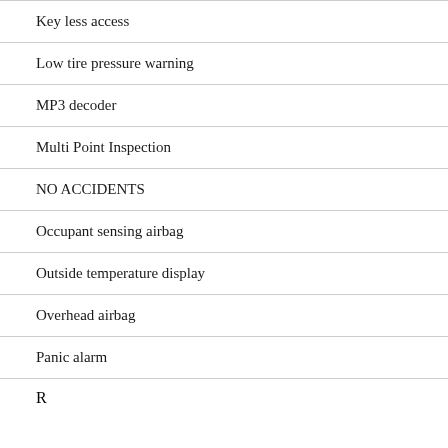Key less access
Low tire pressure warning
MP3 decoder
Multi Point Inspection
NO ACCIDENTS
Occupant sensing airbag
Outside temperature display
Overhead airbag
Panic alarm
Rear seat heating